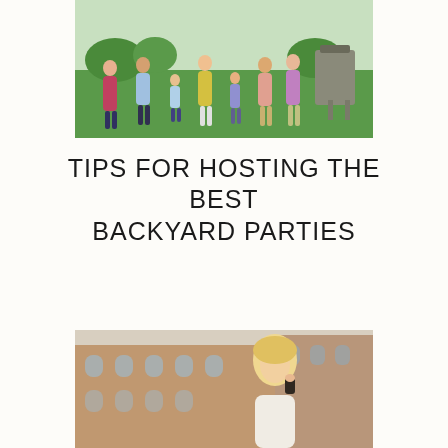[Figure (photo): Group of people at an outdoor backyard BBQ party, standing on green grass with a grill visible on the right side. Multiple adults and children socializing.]
TIPS FOR HOSTING THE BEST BACKYARD PARTIES
[Figure (photo): A blonde woman outdoors in front of a historic brick building, appearing to drink or apply something near her lips.]